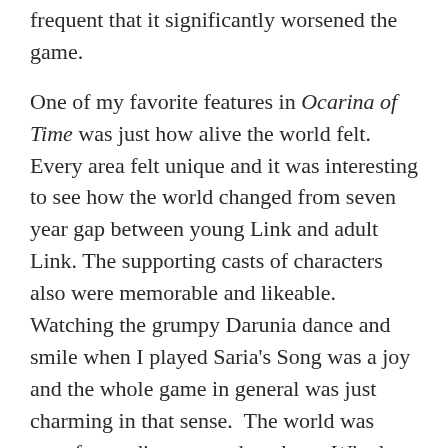frequent that it significantly worsened the game.
One of my favorite features in Ocarina of Time was just how alive the world felt. Every area felt unique and it was interesting to see how the world changed from seven year gap between young Link and adult Link. The supporting casts of characters also were memorable and likeable. Watching the grumpy Darunia dance and smile when I played Saria's Song was a joy and the whole game in general was just charming in that sense.  The world was very fun to discover and explore.  Whether it is uncovering Heart Pieces, finding Golden Skulltulas, or doing side-quests, there were plenty of extra things to do in Ocarina of Time. Everything felt very rewarding as well; it was properly gratifying to complete all of these optional objectives.